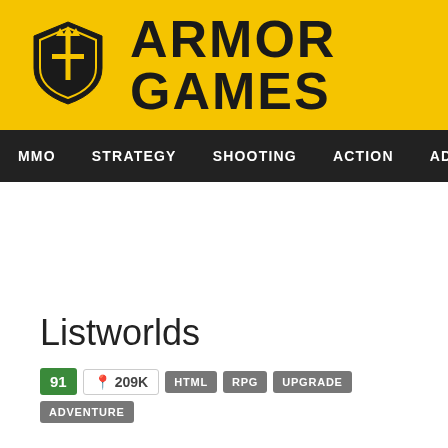[Figure (logo): Armor Games logo with shield icon and text ARMOR GAMES on yellow background]
MMO  STRATEGY  SHOOTING  ACTION  ADVENTURE  P
Listworlds
91  📍 209K  HTML  RPG  UPGRADE  ADVENTURE